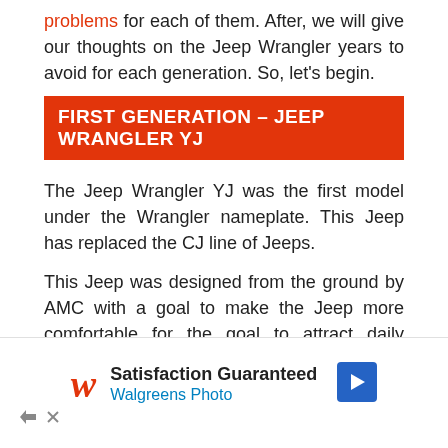problems for each of them. After, we will give our thoughts on the Jeep Wrangler years to avoid for each generation. So, let's begin.
FIRST GENERATION – JEEP WRANGLER YJ
The Jeep Wrangler YJ was the first model under the Wrangler nameplate. This Jeep has replaced the CJ line of Jeeps.
This Jeep was designed from the ground by AMC with a goal to make the Jeep more comfortable for the goal to attract daily drivers who want a comfortable vehicle. So, it distanced itself from the rugged CJ series and offered quite a bit more comfort and daily drivability to the
[Figure (other): Walgreens Photo advertisement banner: 'Satisfaction Guaranteed / Walgreens Photo' with Walgreens W logo and blue arrow icon]